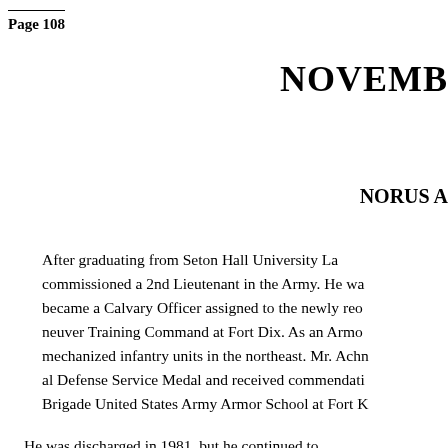Page 108
NOVEMBER
NORUS A
After graduating from Seton Hall University La commissioned a 2nd Lieutenant in the Army. He wa became a Calvary Officer assigned to the newly reo neuver Training Command at Fort Dix. As an Armo mechanized infantry units in the northeast. Mr. Achn al Defense Service Medal and received commendati Brigade United States Army Armor School at Fort K
He was discharged in 1981, but he continued to